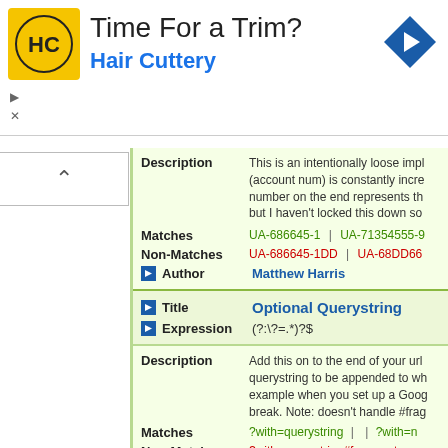[Figure (advertisement): Hair Cuttery advertisement banner with yellow logo, text 'Time For a Trim? Hair Cuttery', blue navigation arrow icon top right]
Description: This is an intentionally loose impl (account num) is constantly incre number on the end represents th but I haven't locked this down so
Matches: UA-686645-1 | UA-71354555-9
Non-Matches: UA-686645-1DD | UA-68DD66
Author: Matthew Harris
Title: Optional Querystring
Expression: (?:\?=.*)?$
Description: Add this on to the end of your url querystring to be appended to wh example when you set up a Goog break. Note: doesn't handle #frag
Matches: ?with=querystring | | ?with=n
Non-Matches: ?with=querystring#fragment
Author: Matthew Harris